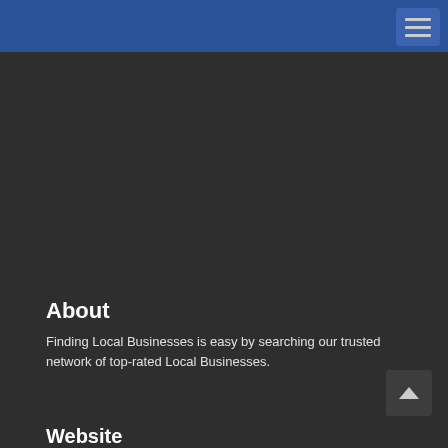About
Finding Local Businesses is easy by searching our trusted network of top-rated Local Businesses.
Website